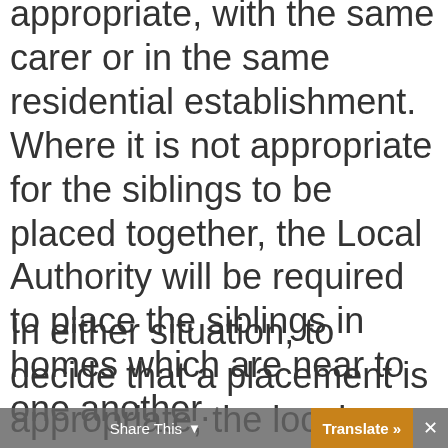appropriate, with the same carer or in the same residential establishment.  Where it is not appropriate for the siblings to be placed together, the Local Authority will be required to place the siblings in homes which are near to one another.
In either situation, to decide that a placement is appropriate, the local authority will have to be satisfied that it...